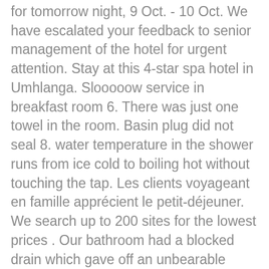for tomorrow night, 9 Oct. - 10 Oct. We have escalated your feedback to senior management of the hotel for urgent attention. Stay at this 4-star spa hotel in Umhlanga. Slooooow service in breakfast room 6. There was just one towel in the room. Basin plug did not seal 8. water temperature in the shower runs from ice cold to boiling hot without touching the tap. Les clients voyageant en famille apprécient le petit-déjeuner. We search up to 200 sites for the lowest prices . Our bathroom had a blocked drain which gave off an unbearable stench. Chartwell Guest House. Mike Fontes ★ ★ ★ ★ ★ We stayed at the hotel for 7 days. There was only one chair in the room in any case. Age . Many travellers enjoy visiting The Ramakrishna Centre of South Africa Durban (5.1 km). 2 km. Prices are the average nightly price provided by our partners and may not include all taxes and fees. dates you select, hotel's policy etc.). Book Coastlands Umhlanga, Umhlanga on Tripadvisor: See 591 traveller reviews, 193 candid photos, and great deals for Coastlands Umhlanga, ranked #1 of 9 hotels in